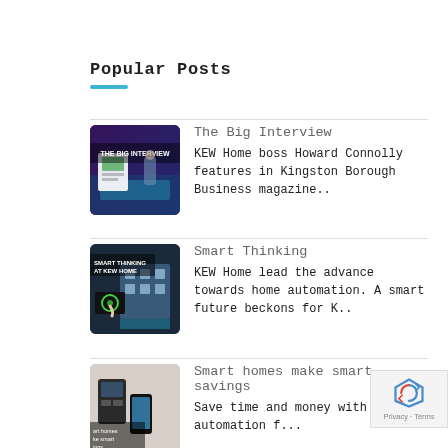Popular Posts
The Big Interview — KEW Home boss Howard Connolly features in Kingston Borough Business magazine..
Smart Thinking — KEW Home lead the advance towards home automation. A smart future beckons for K..
Smart homes make smart savings — Save time and money with home automation f...